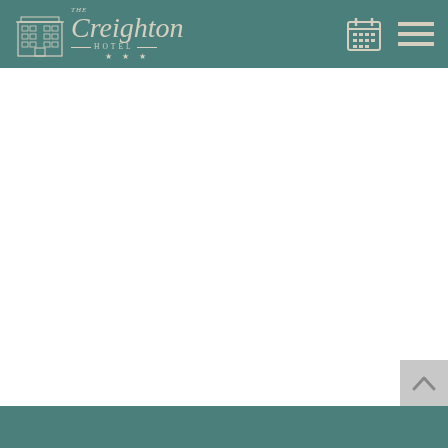The Creighton Hotel — navigation header with logo, calendar icon, and hamburger menu
[Figure (screenshot): White main content area (body of website, no visible content loaded)]
Footer bar with scroll-to-top button